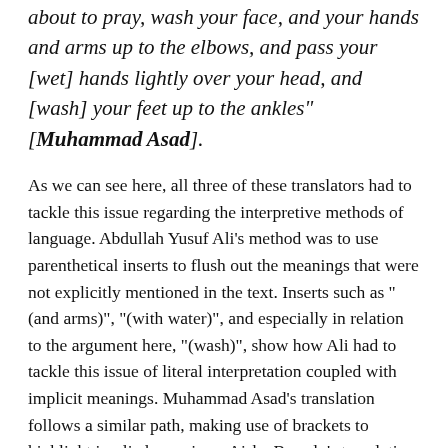about to pray, wash your face, and your hands and arms up to the elbows, and pass your [wet] hands lightly over your head, and [wash] your feet up to the ankles" [Muhammad Asad].
As we can see here, all three of these translators had to tackle this issue regarding the interpretive methods of language. Abdullah Yusuf Ali’s method was to use parenthetical inserts to flush out the meanings that were not explicitly mentioned in the text. Inserts such as “(and arms)”, “(with water)”, and especially in relation to the argument here, “(wash)”, show how Ali had to tackle this issue of literal interpretation coupled with implicit meanings. Muhammad Asad’s translation follows a similar path, making use of brackets to highlight implied meanings. Aisha Bewely’s translation however, skips parenthetical usage and quotes, “and wash your feet to the ankles” as if